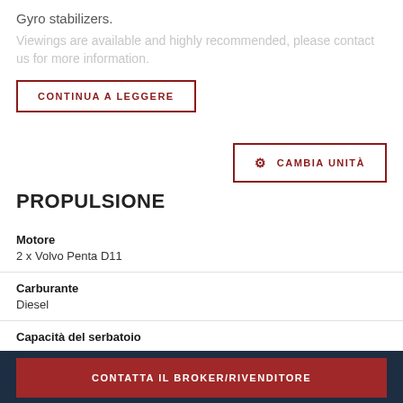Gyro stabilizers.
Viewings are available and highly recommended, please contact us for more information.
CONTINUA A LEGGERE
⚙ CAMBIA UNITÀ
PROPULSIONE
Motore: 2 x Volvo Penta D11
Carburante: Diesel
Capacità del serbatoio
CONTATTA IL BROKER/RIVENDITORE